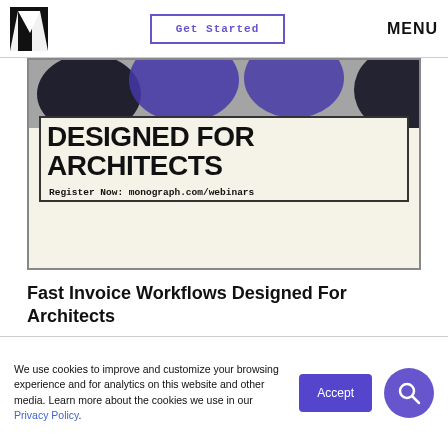Get Started  MENU
[Figure (illustration): Promotional banner for Monograph webinar. Dark blue/purple abstract shapes on cream background with large bold text 'DESIGNED FOR ARCHITECTS' in a bordered box, and monospace text 'Register Now: monograph.com/webinars']
Fast Invoice Workflows Designed For Architects
WATCH NOW
We use cookies to improve and customize your browsing experience and for analytics on this website and other media. Learn more about the cookies we use in our Privacy Policy.